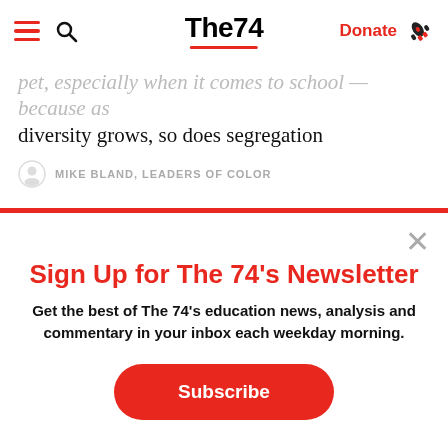The74 | Donate
pet, especially when it comes to school — because as diversity grows, so does segregation
MIKE BLAND, LEADERS OF COLOR
Sign Up for The 74's Newsletter
Get the best of The 74's education news, analysis and commentary in your inbox each weekday morning.
Subscribe